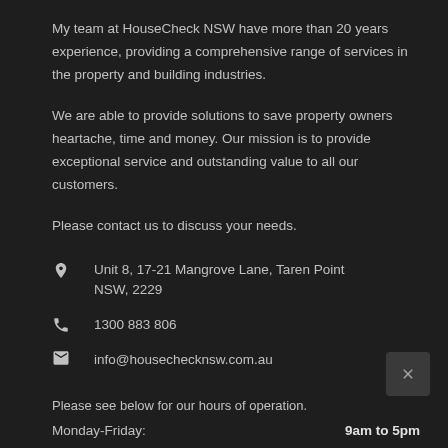My team at HouseCheck NSW have more than 20 years experience, providing a comprehensive range of services in the property and building industries.
We are able to provide solutions to save property owners heartache, time and money. Our mission is to provide exceptional service and outstanding value to all our customers.
Please contact us to discuss your needs.
Unit 8, 17-21 Mangrove Lane, Taren Point NSW, 2229
1300 883 806
info@housechecknsw.com.au
Please see below for our hours of operation.
Monday-Friday:	9am to 5pm